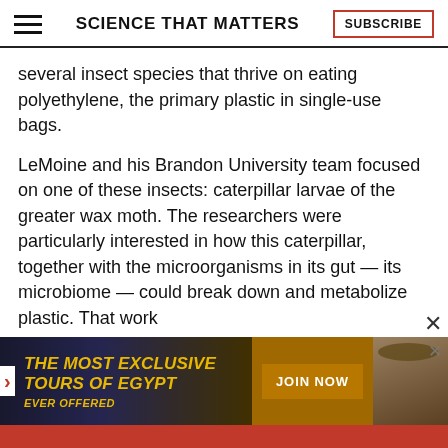SCIENCE THAT MATTERS
several insect species that thrive on eating polyethylene, the primary plastic in single-use bags.
LeMoine and his Brandon University team focused on one of these insects: caterpillar larvae of the greater wax moth. The researchers were particularly interested in how this caterpillar, together with the microorganisms in its gut — its microbiome — could break down and metabolize plastic. That work
[Figure (infographic): Advertisement banner: 'THE MOST EXCLUSIVE TOURS OF EGYPT EVER OFFERED' with a JOIN NOW button and a photo of a man in a hat]
1 FREE ARTICLE  SUBSCRIBE